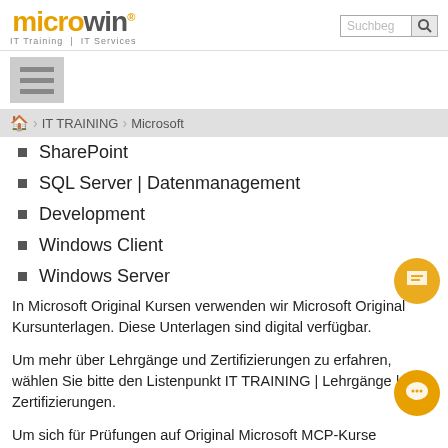[Figure (logo): Microwin logo with orange 'micro' and grey 'win.' text, subtitle 'IT Training | IT Services']
[Figure (other): Hamburger menu icon (three horizontal bars) on grey background]
IT TRAINING > Microsoft
SharePoint
SQL Server | Datenmanagement
Development
Windows Client
Windows Server
In Microsoft Original Kursen verwenden wir Microsoft Original Kursunterlagen. Diese Unterlagen sind digital verfügbar.
Um mehr über Lehrgänge und Zertifizierungen zu erfahren, wählen Sie bitte den Listenpunkt IT TRAINING | Lehrgänge | Zertifizierungen.
Um sich für Prüfungen auf Original Microsoft MCP-Kurse